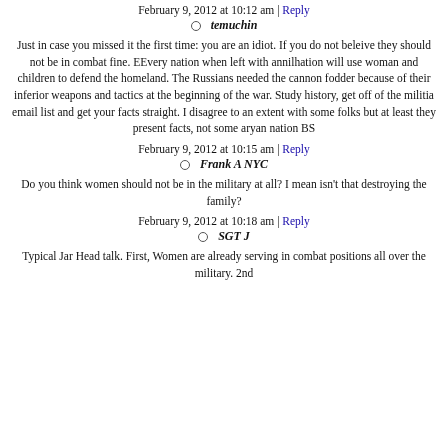February 9, 2012 at 10:12 am | Reply
temuchin
Just in case you missed it the first time: you are an idiot. If you do not beleive they should not be in combat fine. EEvery nation when left with annilhation will use woman and children to defend the homeland. The Russians needed the cannon fodder because of their inferior weapons and tactics at the beginning of the war. Study history, get off of the militia email list and get your facts straight. I disagree to an extent with some folks but at least they present facts, not some aryan nation BS
February 9, 2012 at 10:15 am | Reply
Frank A NYC
Do you think women should not be in the military at all? I mean isn't that destroying the family?
February 9, 2012 at 10:18 am | Reply
SGT J
Typical Jar Head talk. First, Women are already serving in combat positions all over the military. 2nd